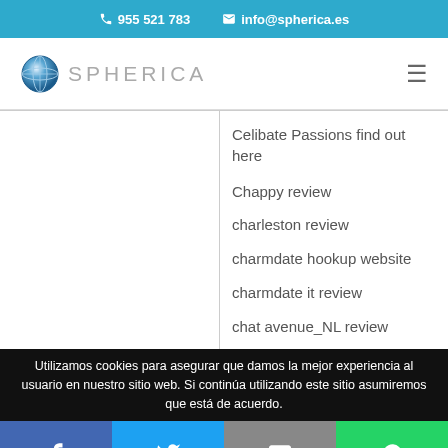☎ 955 521 783  ✉ info@spherica.es
[Figure (logo): Spherica globe logo with text SPHERICA]
Celibate Passions find out here
Chappy review
charleston review
charmdate hookup website
charmdate it review
chat avenue_NL review
Utilizamos cookies para asegurar que damos la mejor experiencia al usuario en nuestro sitio web. Si continúa utilizando este sitio asumiremos que está de acuerdo.
[Figure (infographic): Social media share buttons: Facebook, Twitter, Email, WhatsApp]